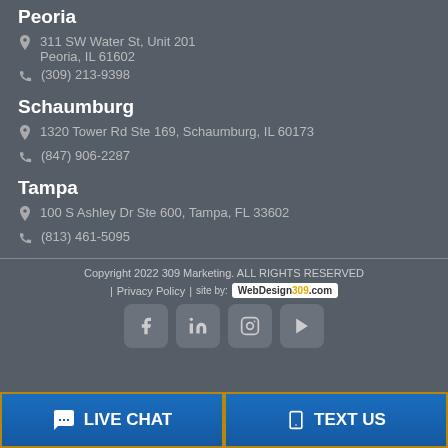Peoria
311 SW Water St, Unit 201 Peoria, IL 61602
(309) 213-9398
Schaumburg
1320 Tower Rd Ste 169, Schaumburg, IL 60173
(847) 906-2287
Tampa
100 S Ashley Dr Ste 600, Tampa, FL 33602
(813) 461-5095
Copyright 2022 309 Marketing. ALL RIGHTS RESERVED | Privacy Policy | site by: WebDesign309.com
[Figure (infographic): Social media icons: Facebook, LinkedIn, Instagram, YouTube]
LIVE CHAT  TEXT US